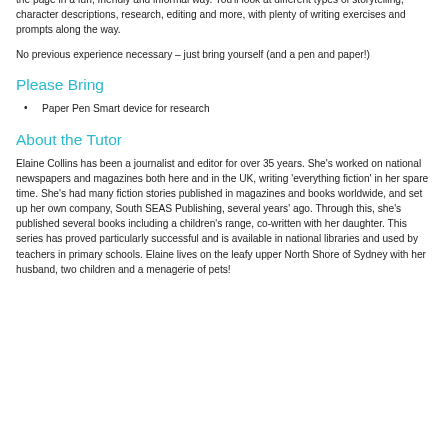written, but sometimes it's better – and more rewarding – to start small. This four-week course, by author and journalist Elaine Collins, will help you bring your short story ideas to the page in a fun, friendly and informal way. You'll look at different types of storytelling, character descriptions, research, editing and more, with plenty of writing exercises and prompts along the way.
No previous experience necessary – just bring yourself (and a pen and paper!)
Please Bring
Paper Pen Smart device for research
About the Tutor
Elaine Collins has been a journalist and editor for over 35 years. She's worked on national newspapers and magazines both here and in the UK, writing 'everything fiction' in her spare time. She's had many fiction stories published in magazines and books worldwide, and set up her own company, South SEAS Publishing, several years' ago. Through this, she's published several books including a children's range, co-written with her daughter. This series has proved particularly successful and is available in national libraries and used by teachers in primary schools. Elaine lives on the leafy upper North Shore of Sydney with her husband, two children and a menagerie of pets!